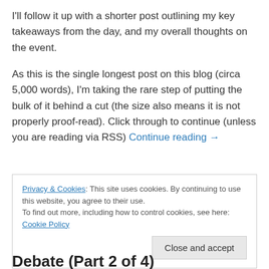I'll follow it up with a shorter post outlining my key takeaways from the day, and my overall thoughts on the event.
As this is the single longest post on this blog (circa 5,000 words), I'm taking the rare step of putting the bulk of it behind a cut (the size also means it is not properly proof-read). Click through to continue (unless you are reading via RSS) Continue reading →
Privacy & Cookies: This site uses cookies. By continuing to use this website, you agree to their use.
To find out more, including how to control cookies, see here: Cookie Policy
Debate (Part 2 of 4)